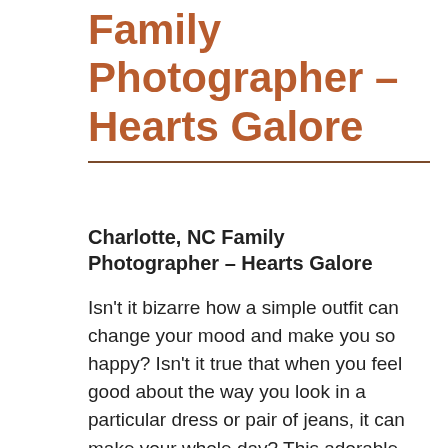Family Photographer – Hearts Galore
Charlotte, NC Family Photographer – Hearts Galore
Isn't it bizarre how a simple outfit can change your mood and make you so happy?  Isn't it true that when you feel good about the way you look in a particular dress or pair of jeans, it can make your whole day?  This adorable young lady looked so sweet and happy in this perfectly pink and red dress.  We just had to capture this moment.  As a parent, there are times during